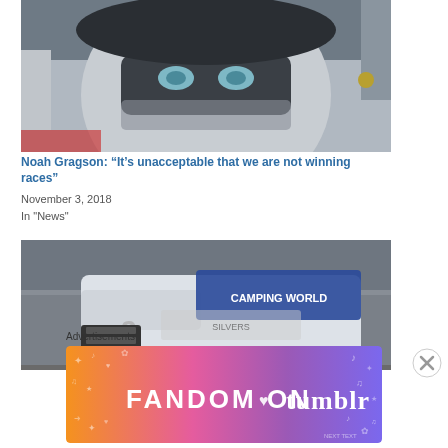[Figure (photo): Close-up of a NASCAR driver in a racing helmet, eyes looking up, with gray/silver helmet and face shield visible]
Noah Gragson: “It’s unacceptable that we are not winning races”
November 3, 2018
In "News"
[Figure (photo): NASCAR Camping World Truck Series truck on track, white truck with CAMPING WORLD windshield banner, number 2 visible, racing on asphalt]
Advertisements
[Figure (other): Fandom on Tumblr advertisement banner with colorful gradient background from orange to purple, with icons and text reading FANDOM ON tumblr]